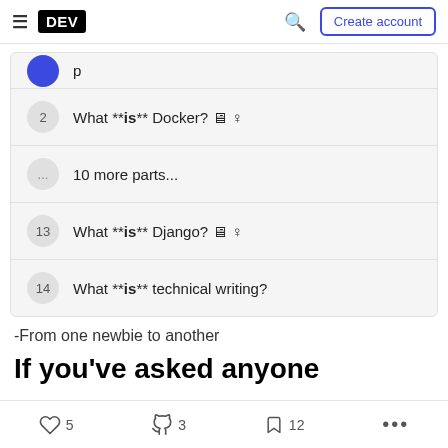DEV — Create account
2  What **is** Docker? 🖥 ♀
...  10 more parts...
13  What **is** Django? 🖥 ♀
14  What **is** technical writing?
-From one newbie to another
If you've asked anyone
♡ 5   🦄 3   🔖 12   ...